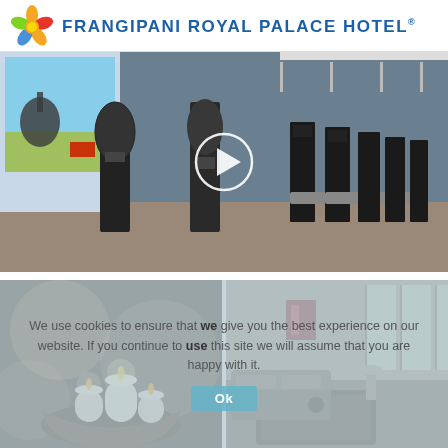[Figure (logo): Frangipani Royal Palace Hotel logo with colorful flower icon and hotel name in blue uppercase letters]
[Figure (photo): Hotel gym/fitness center with treadmills and elliptical machines lined up, large windows, play button overlay indicating video]
[Figure (photo): Spa candles in a wooden bowl, warm bokeh lighting]
[Figure (photo): Hotel lounge/lobby area with sofas and coffee table]
We use cookies to ensure that we give you the best experience on our website. If you continue to use this site we will assume that you are happy with it.
Ok